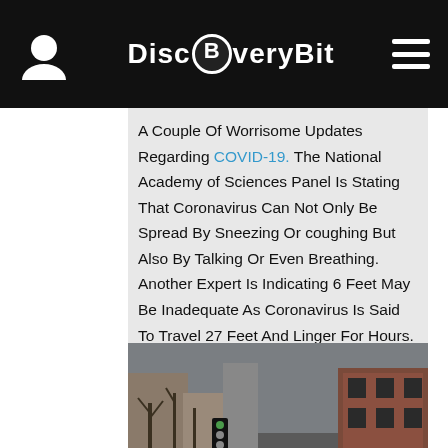DiscBveryBit
A Couple Of Worrisome Updates Regarding COVID-19. The National Academy of Sciences Panel Is Stating That Coronavirus Can Not Only Be Spread By Sneezing Or coughing But Also By Talking Or Even Breathing. Another Expert Is Indicating 6 Feet May Be Inadequate As Coronavirus Is Said To Travel 27 Feet And Linger For Hours.
[Figure (photo): A person wearing dark clothing and carrying a black umbrella walks along a wet city street with cars parked along the side, bare trees, traffic lights, and city buildings visible in the background.]